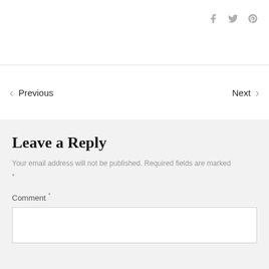[Figure (other): Social media icons: Facebook, Twitter, Pinterest]
< Previous
Next >
Leave a Reply
Your email address will not be published. Required fields are marked *
Comment *